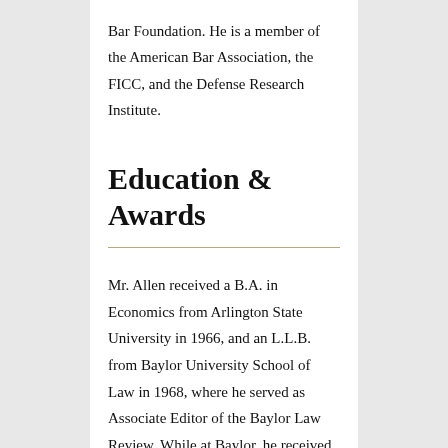Bar Foundation. He is a member of the American Bar Association, the FICC, and the Defense Research Institute.
Education & Awards
Mr. Allen received a B.A. in Economics from Arlington State University in 1966, and an L.L.B. from Baylor University School of Law in 1968, where he served as Associate Editor of the Baylor Law Review. While at Baylor, he received the James P. Alexander Memorial